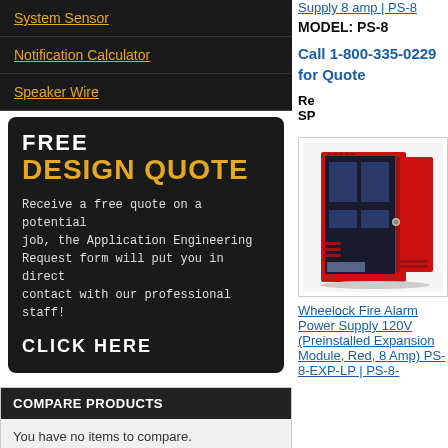System Sensor
Notification Calculator
Speaker Wire
[Figure (infographic): FREE DESIGN QUOTE promotional box with dark background. Text: 'FREE / DESIGN QUOTE / Receive a free quote on a potential job, the Application Engineering Request form will put you in direct contact with our professional staff! / CLICK HERE']
COMPARE PRODUCTS
You have no items to compare.
LIVE HELP
YOUR CART
You have no items in your shopping cart.
Supply 8 amp | PS-8
MODEL: PS-8
Call 1-800-335-0229 for Quote
Related SP
[Figure (photo): Red fire alarm power supply cabinet/box with door open showing internal components, mounted on white background.]
Wheelock Fire Alarm Power Supply 120V (Preinstalled Expansion Module, Red, 8 Amp) PS-8-EXP-LP | PS-8-